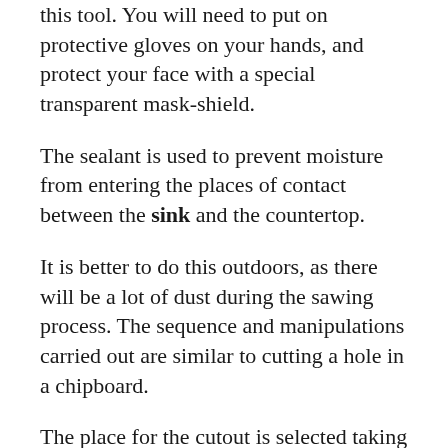this tool. You will need to put on protective gloves on your hands, and protect your face with a special transparent mask-shield.
The sealant is used to prevent moisture from entering the places of contact between the sink and the countertop.
It is better to do this outdoors, as there will be a lot of dust during the sawing process. The sequence and manipulations carried out are similar to cutting a hole in a chipboard.
The place for the cutout is selected taking into account the minimum distance for draining water into the sewer and connecting the water supply.